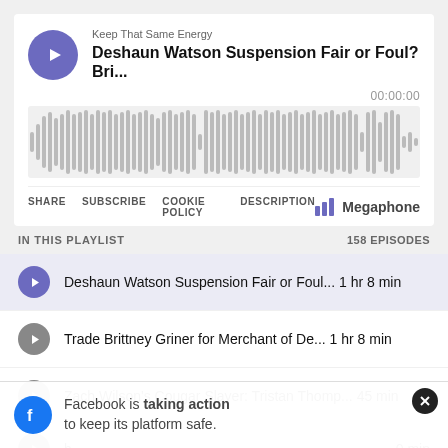Keep That Same Energy
Deshaun Watson Suspension Fair or Foul? Bri...
00:00:00
[Figure (other): Audio waveform visualization showing vertical bars of varying heights representing the audio waveform of the podcast episode]
SHARE   SUBSCRIBE   COOKIE POLICY   DESCRIPTION
[Figure (logo): Megaphone logo with bar chart icon]
IN THIS PLAYLIST
158 EPISODES
Deshaun Watson Suspension Fair or Foul... 1 hr 8 min
Trade Brittney Griner for Merchant of De... 1 hr 8 min
Zach Wilson's Cougar Slayer: Tristan Thomp... 45 min
Facebook is taking action to keep its platform safe.